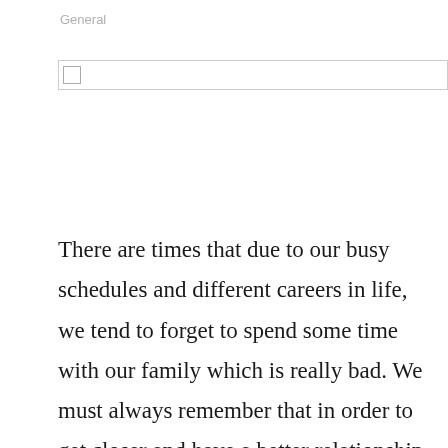General
There are times that due to our busy schedules and different careers in life, we tend to forget to spend some time with our family which is really bad. We must always remember that in order to get closer and have a better relationship with our dearest love ones, we must able to give some of our